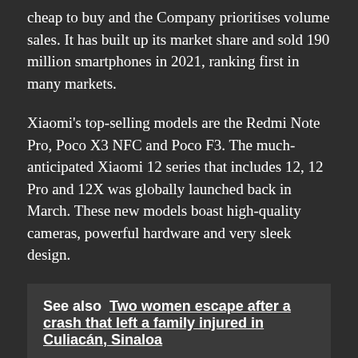cheap to buy and the Company prioritises volume sales. It has built up its market share and sold 190 million smartphones in 2021, ranking first in many markets.
Xiaomi's top-selling models are the Redmi Note Pro, Poco X3 NFC and Poco F3. The much-anticipated Xiaomi 12 series that includes 12, 12 Pro and 12X was globally launched back in March. These new models boast high-quality cameras, powerful hardware and very sleek design.
See also  Two women escape after a crash that left a family injured in Culiacán, Sinaloa
Huawei